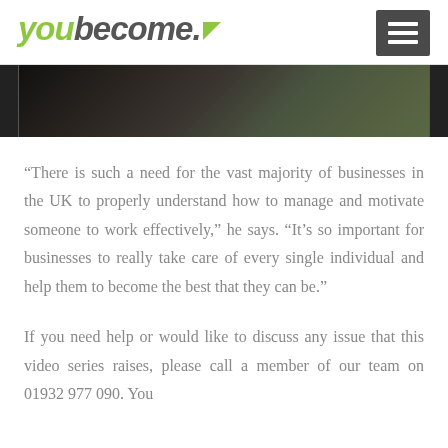youbecome.
[Figure (photo): Partial view of a person gesturing with hands, outdoor background with greenery, dark clothing]
“There is such a need for the vast majority of businesses in the UK to properly understand how to manage and motivate someone to work effectively,” he says. “It’s so important for businesses to really take care of every single individual and help them to become the best that they can be.”
If you need help or would like to discuss any issue that this video series raises, please call a member of our team on 01932 977 090. You